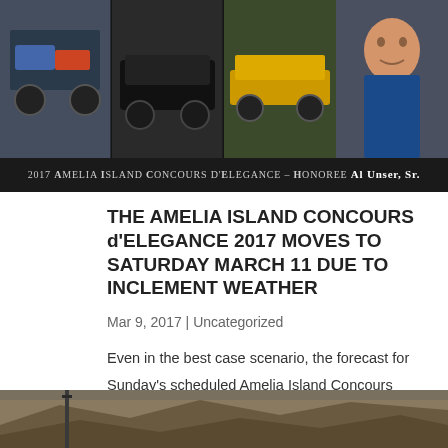[Figure (photo): 2017 Amelia Island Concours d'Elegance banner with racing photos and Al Unser Sr. portrait, with caption bar reading '2017 Amelia Island Concours d'Elegance – Honoree Al Unser, Sr.']
THE AMELIA ISLAND CONCOURS d'ELEGANCE 2017 MOVES TO SATURDAY MARCH 11 DUE TO INCLEMENT WEATHER
Mar 9, 2017 | Uncategorized
Even in the best case scenario, the forecast for Sunday's scheduled Amelia Island Concours d'Elegance includes rain and lots of it. With a 100% chance of heavy precipitation forecast for Sunday and a sunshine-filled Saturday in the mix, Bill Warner and his…
[Figure (photo): Partial view of a desert or dry landscape with rocky terrain, partially cropped at bottom of page]